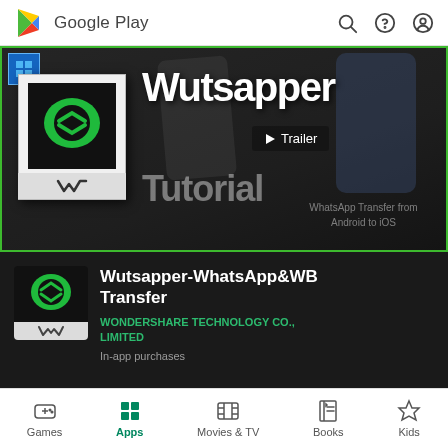Google Play
[Figure (screenshot): Google Play Store page for Wutsapper - WhatsApp&WB Transfer app by Wondershare Technology Co., Limited. Shows banner with Wutsapper Tutorial trailer thumbnail, app icon, app name, developer name, and in-app purchases note.]
Wutsapper-WhatsApp&WB Transfer
WONDERSHARE TECHNOLOGY CO., LIMITED
In-app purchases
Games  Apps  Movies & TV  Books  Kids